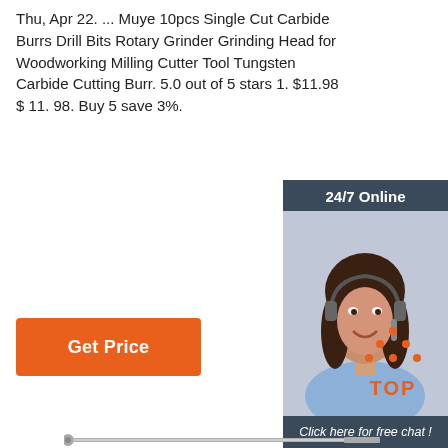Thu, Apr 22. ... Muye 10pcs Single Cut Carbide Burrs Drill Bits Rotary Grinder Grinding Head for Woodworking Milling Cutter Tool Tungsten Carbide Cutting Burr. 5.0 out of 5 stars 1. $11.98 $ 11. 98. Buy 5 save 3%.
[Figure (other): Orange 'Get Price' button]
[Figure (other): 24/7 Online chat widget with photo of woman with headset, 'Click here for free chat!' text, and orange QUOTATION button]
[Figure (logo): Orange dotted triangle 'TOP' back-to-top icon]
[Figure (photo): Carbide burr drill bit tool shown horizontally at bottom of page]